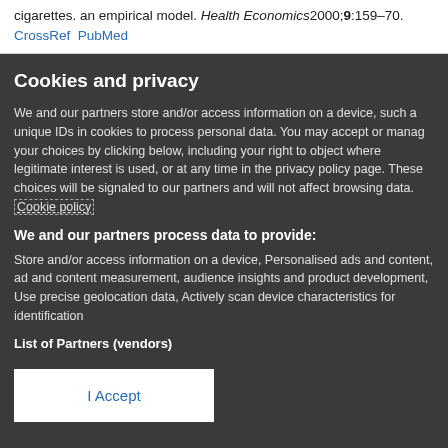cigarettes. an empirical model. Health Economics 2000;9:159–70. CrossRef PubMed
Cookies and privacy
We and our partners store and/or access information on a device, such as unique IDs in cookies to process personal data. You may accept or manage your choices by clicking below, including your right to object where legitimate interest is used, or at any time in the privacy policy page. These choices will be signaled to our partners and will not affect browsing data. Cookie policy
We and our partners process data to provide:
Store and/or access information on a device, Personalised ads and content, ad and content measurement, audience insights and product development, Use precise geolocation data, Actively scan device characteristics for identification
List of Partners (vendors)
I Accept